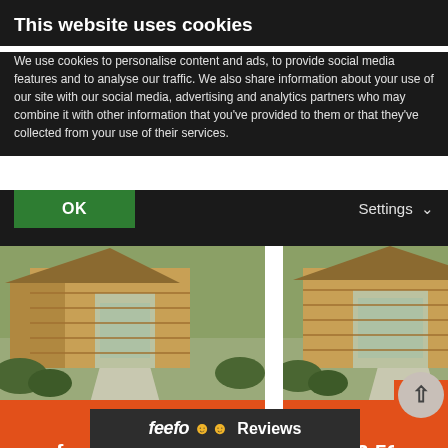This website uses cookies
We use cookies to personalise content and ads, to provide social media features and to analyse our traffic. We also share information about your use of our site with our social media, advertising and analytics partners who may combine it with other information that you've provided to them or that they've collected from your use of their services.
OK
Settings
[Figure (photo): Photo of The Holly 4m x 4m Corner Log Cabin - a wooden corner log cabin with open folding doors, showing interior with table and chairs, garden path and bushes in foreground]
[Figure (photo): Photo of The Juniper 4m x 3m Log Cabin - a wooden log cabin with open double doors, garden path and bushes in foreground]
The Holly 4m x 4m Corner Log Cabin
from £3,099.99
£4,699.99
The Juniper 4m x 3m Log Cabin
from £2,599.99
£3,499.99
feefo Reviews